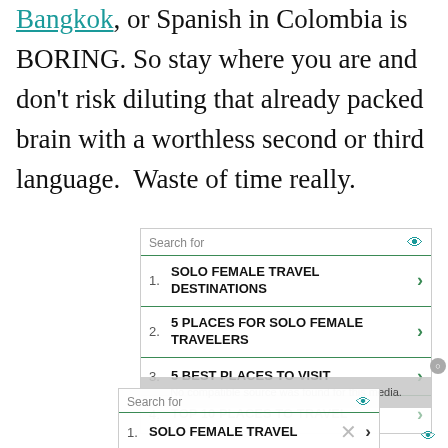Bangkok, or Spanish in Colombia is BORING. So stay where you are and don't risk diluting that already packed brain with a worthless second or third language. Waste of time really.
[Figure (screenshot): Two overlapping advertisement/search boxes with travel-related search suggestions. First box: 'Search for' header with eye icon, items: 1. SOLO FEMALE TRAVEL DESTINATIONS, 2. 5 PLACES FOR SOLO FEMALE TRAVELERS, 3. 5 BEST PLACES TO VISIT, 4. TOP 10 PLACES TO TRAVEL. Second (overlapping) box with gray overlay showing 'No compatible source was found for this media.' message and partial items: 1. SOLO FEMALE TRAVEL, 2. 5 PLACES FOR SOLO FEMALE.]